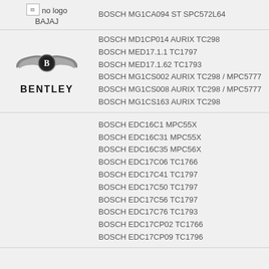| Logo | ECU / Controllers |
| --- | --- |
| no logo BAJAJ | BOSCH MG1CA094 ST SPC572L64 |
| BENTLEY | BOSCH MD1CP014 AURIX TC298
BOSCH MED17.1.1 TC1797
BOSCH MED17.1.62 TC1793
BOSCH MG1CS002 AURIX TC298 / MPC5777
BOSCH MG1CS008 AURIX TC298 / MPC5777
BOSCH MG1CS163 AURIX TC298 |
|  | BOSCH EDC16C1 MPC55X
BOSCH EDC16C31 MPC55X
BOSCH EDC16C35 MPC56X
BOSCH EDC17C06 TC1766
BOSCH EDC17C41 TC1797
BOSCH EDC17C50 TC1797
BOSCH EDC17C56 TC1797
BOSCH EDC17C76 TC1793
BOSCH EDC17CP02 TC1766
BOSCH EDC17CP09 TC1796 |